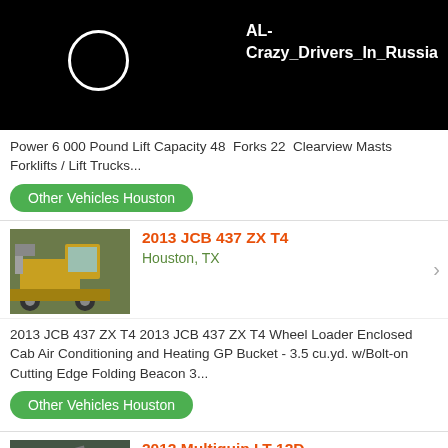[Figure (screenshot): Black video banner with white circle/play icon on left and white bold text 'AL-Crazy_Drivers_In_Russia' on right]
Power 6 000 Pound Lift Capacity 48  Forks 22  Clearview Masts Forklifts / Lift Trucks...
Other Vehicles Houston
[Figure (photo): Photo of a 2013 JCB 437 ZX T4 wheel loader - yellow construction vehicle]
2013 JCB 437 ZX T4
Houston, TX
2013 JCB 437 ZX T4 2013 JCB 437 ZX T4 Wheel Loader Enclosed Cab Air Conditioning and Heating GP Bucket - 3.5 cu.yd. w/Bolt-on Cutting Edge Folding Beacon 3...
Other Vehicles Houston
[Figure (photo): Photo of a 2012 Multiquip LT-12D vehicle - white truck with crane arm]
2012 Multiquip LT-12D
Houston, TX